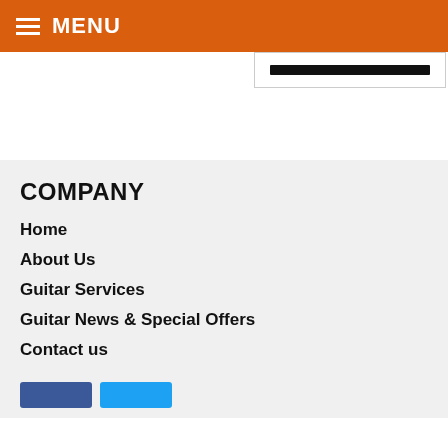MENU
COMPANY
Home
About Us
Guitar Services
Guitar News & Special Offers
Contact us